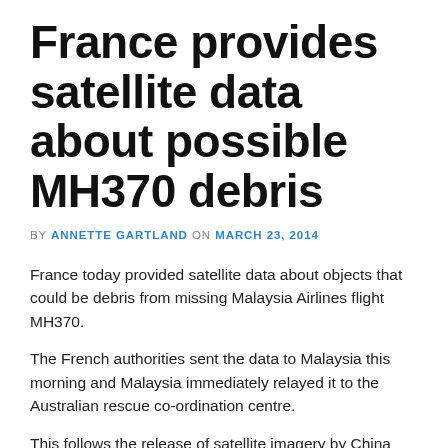France provides satellite data about possible MH370 debris
BY ANNETTE GARTLAND ON MARCH 23, 2014
France today provided satellite data about objects that could be debris from missing Malaysia Airlines flight MH370.
The French authorities sent the data to Malaysia this morning and Malaysia immediately relayed it to the Australian rescue co-ordination centre.
This follows the release of satellite imagery by China yesterday, and by Australia last Thursday.
The Malaysians say the new information relates to “potential